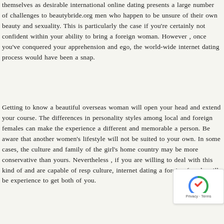themselves as desirable international online dating presents a large number of challenges to beautybride.org men who happen to be unsure of their own beauty and sexuality. This is particularly the case if you're certainly not confident within your ability to bring a foreign woman. However , once you've conquered your apprehension and ego, the world-wide internet dating process would have been a snap.
Getting to know a beautiful overseas woman will open your head and extend your course. The differences in personality styles among local and foreign females can make the experience a different and memorable a person. Be aware that another women's lifestyle will not be suited to your own. In some cases, the culture and family of the girl's home country may be more conservative than yours. Nevertheless , if you are willing to deal with this kind of and are capable of resp culture, internet dating a foreign female will be experience to get both of you.